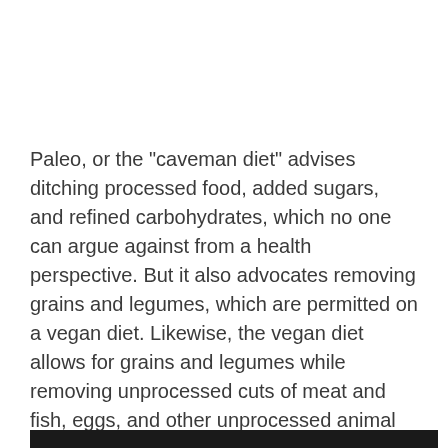Paleo, or the "caveman diet" advises ditching processed food, added sugars, and refined carbohydrates, which no one can argue against from a health perspective. But it also advocates removing grains and legumes, which are permitted on a vegan diet. Likewise, the vegan diet allows for grains and legumes while removing unprocessed cuts of meat and fish, eggs, and other unprocessed animal products. The pegan diet is a combination of these philosophies: it's a fruit-and-veg focused vegan diet with non-processed meat, fish and eggs back on the table.